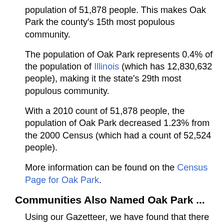population of 51,878 people. This makes Oak Park the county's 15th most populous community.
The population of Oak Park represents 0.4% of the population of Illinois (which has 12,830,632 people), making it the state's 29th most populous community.
With a 2010 count of 51,878 people, the population of Oak Park decreased 1.23% from the 2000 Census (which had a count of 52,524 people).
More information can be found on the Census Page for Oak Park.
Communities Also Named Oak Park ...
Using our Gazetteer, we have found that there are 47 communities that are also named Oak Park - they are located in Alabama (3), Arkansas (2), California (3), Colorado, Florida (2), Georgia (3), Indiana, Iowa, Louisiana (2), Maryland (3), Michigan (2),